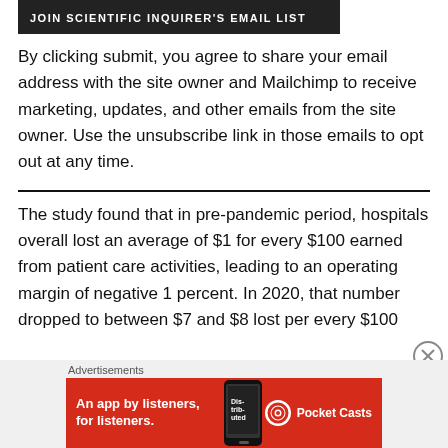[Figure (other): Dark banner with text JOIN SCIENTIFIC INQUIRER'S EMAIL LIST]
By clicking submit, you agree to share your email address with the site owner and Mailchimp to receive marketing, updates, and other emails from the site owner. Use the unsubscribe link in those emails to opt out at any time.
The study found that in pre-pandemic period, hospitals overall lost an average of $1 for every $100 earned from patient care activities, leading to an operating margin of negative 1 percent. In 2020, that number dropped to between $7 and $8 lost per every $100
[Figure (other): Advertisement banner: Pocket Casts — An app by listeners, for listeners. Red background with phone image.]